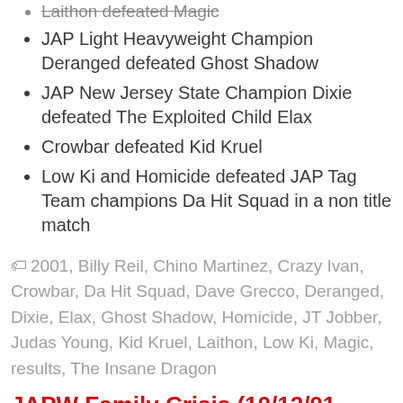Laithon defeated Magic
JAP Light Heavyweight Champion Deranged defeated Ghost Shadow
JAP New Jersey State Champion Dixie defeated The Exploited Child Elax
Crowbar defeated Kid Kruel
Low Ki and Homicide defeated JAP Tag Team champions Da Hit Squad in a non title match
2001, Billy Reil, Chino Martinez, Crazy Ivan, Crowbar, Da Hit Squad, Dave Grecco, Deranged, Dixie, Elax, Ghost Shadow, Homicide, JT Jobber, Judas Young, Kid Kruel, Laithon, Low Ki, Magic, results, The Insane Dragon
JAPW Family Crisis (10/12/01 Bayonne, NJ)